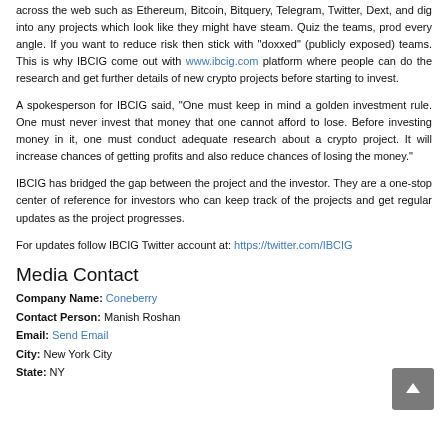across the web such as Ethereum, Bitcoin, Bitquery, Telegram, Twitter, Dext, and dig into any projects which look like they might have steam. Quiz the teams, prod every angle. If you want to reduce risk then stick with "doxxed" (publicly exposed) teams. This is why IBCIG come out with www.ibcig.com platform where people can do the research and get further details of new crypto projects before starting to invest.
A spokesperson for IBCIG said, "One must keep in mind a golden investment rule. One must never invest that money that one cannot afford to lose. Before investing money in it, one must conduct adequate research about a crypto project. It will increase chances of getting profits and also reduce chances of losing the money."
IBCIG has bridged the gap between the project and the investor. They are a one-stop center of reference for investors who can keep track of the projects and get regular updates as the project progresses.
For updates follow IBCIG Twitter account at: https://twitter.com/IBCIG
Media Contact
Company Name: Coneberry
Contact Person: Manish Roshan
Email: Send Email
City: New York City
State: NY